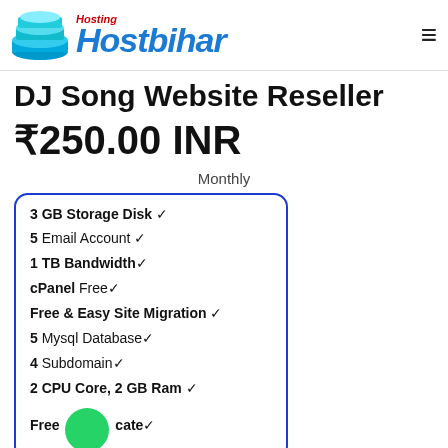Hosting Hostbihar
DJ Song Website Reseller
₹250.00 INR
Monthly
3 GB Storage Disk ✓
5 Email Account ✓
1 TB Bandwidth ✓
cPanel Free ✓
Free & Easy Site Migration ✓
5 Mysql Database ✓
4 Subdomain ✓
2 CPU Core, 2 GB Ram ✓
Free SSL Certificate ✓